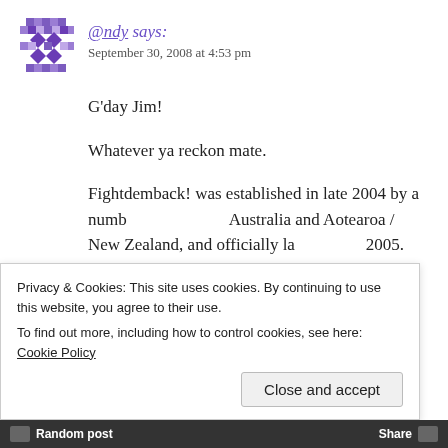[Figure (illustration): Purple geometric/diamond pattern avatar icon for user @ndy]
@ndy says: September 30, 2008 at 4:53 pm
G'day Jim!
Whatever ya reckon mate.
Fightdemback! was established in late 2004 by a number of people in Australia and Aotearoa / New Zealand, and officially launched in 2005.
Since then, among other things:
Privacy & Cookies: This site uses cookies. By continuing to use this website, you agree to their use.
To find out more, including how to control cookies, see here: Cookie Policy
Random post   Share